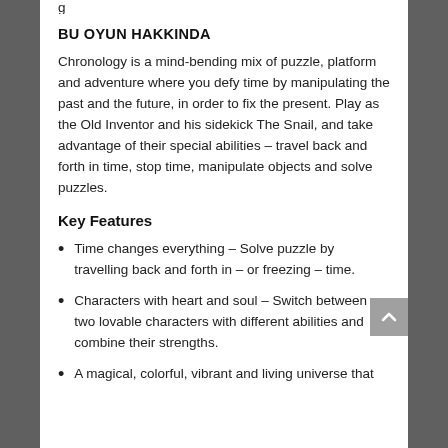BU OYUN HAKKINDA
Chronology is a mind-bending mix of puzzle, platform and adventure where you defy time by manipulating the past and the future, in order to fix the present. Play as the Old Inventor and his sidekick The Snail, and take advantage of their special abilities – travel back and forth in time, stop time, manipulate objects and solve puzzles.
Key Features
Time changes everything – Solve puzzle by travelling back and forth in – or freezing – time.
Characters with heart and soul – Switch between two lovable characters with different abilities and combine their strengths.
A magical, colorful, vibrant and living universe that